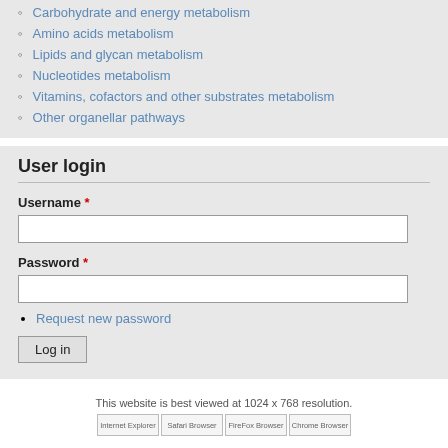Carbohydrate and energy metabolism
Amino acids metabolism
Lipids and glycan metabolism
Nucleotides metabolism
Vitamins, cofactors and other substrates metabolism
Other organellar pathways
User login
Username *
Password *
Request new password
Log in
This website is best viewed at 1024 x 768 resolution.